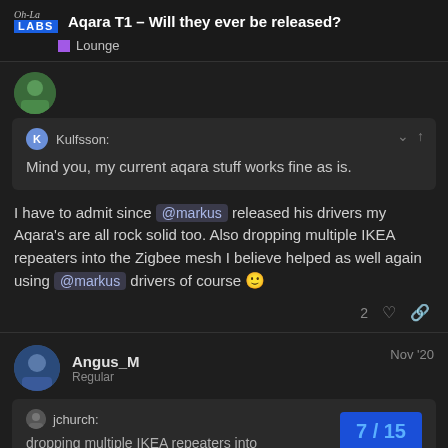Aqara T1 – Will they ever be released? | Lounge
[Figure (screenshot): User avatar circle (green, outdoor photo)]
Kulfsson: Mind you, my current aqara stuff works fine as is.
I have to admit since @markus released his drivers my Aqara's are all rock solid too. Also dropping multiple IKEA repeaters into the Zigbee mesh I believe helped as well again using @markus drivers of course 🙂
2 ♡ 🔗
Angus_M
Regular
Nov '20
jchurch:
dropping multiple IKEA repeaters into
7 / 15